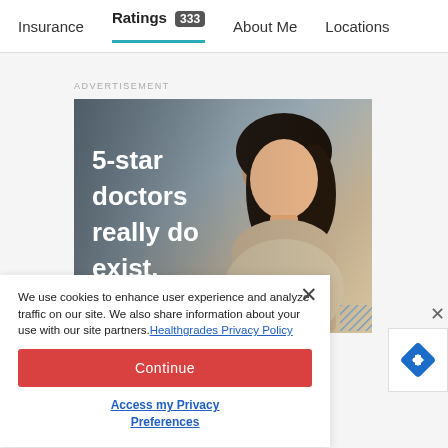Insurance   Ratings 333   About Me   Locations
ADVERTISEMENT
[Figure (photo): Advertisement photo showing a smiling woman with dark hair, likely a doctor or healthcare professional, with text overlay reading '5-star doctors really do exist.']
We use cookies to enhance user experience and analyze traffic on our site. We also share information about your use with our site partners. Healthgrades Privacy Policy
Continue
Access my Privacy Preferences
You May Also Like